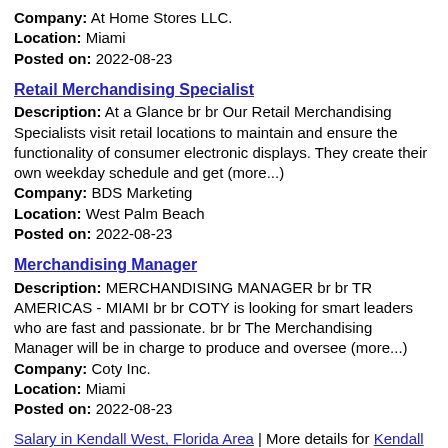Company: At Home Stores LLC.
Location: Miami
Posted on: 2022-08-23
Retail Merchandising Specialist
Description: At a Glance br br Our Retail Merchandising Specialists visit retail locations to maintain and ensure the functionality of consumer electronic displays. They create their own weekday schedule and get (more...)
Company: BDS Marketing
Location: West Palm Beach
Posted on: 2022-08-23
Merchandising Manager
Description: MERCHANDISING MANAGER br br TR AMERICAS - MIAMI br br COTY is looking for smart leaders who are fast and passionate. br br The Merchandising Manager will be in charge to produce and oversee (more...)
Company: Coty Inc.
Location: Miami
Posted on: 2022-08-23
Salary in Kendall West, Florida Area | More details for Kendall West, Florida Jobs |Salary
Visual Merchandising Specialist
Description: The Visual Merchandising Specialist will be